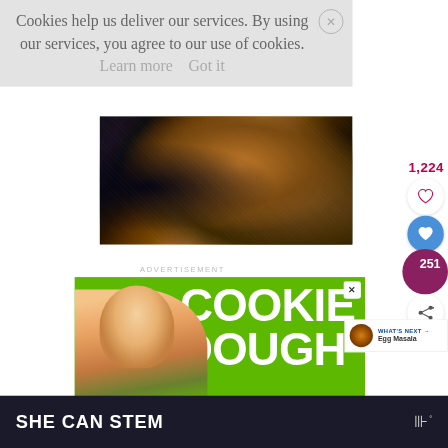Cookies help us deliver our services. By using our services, you agree to our use of cookies. Learn more  Got it
[Figure (photo): Close-up photo of cooked food, appears dark and caramelized with mixed textures]
1,224
[Figure (other): Heart icon (like button) in circle]
[Figure (other): Active heart icon (liked) in blue circle]
251
[Figure (other): Share icon button in circle]
ADVERTISEMENT
[Figure (photo): Advertisement banner with green background, young girl smiling, text reads COOKIE DOUGH]
WHAT'S NEXT → Egg Masala
SHE CAN STEM